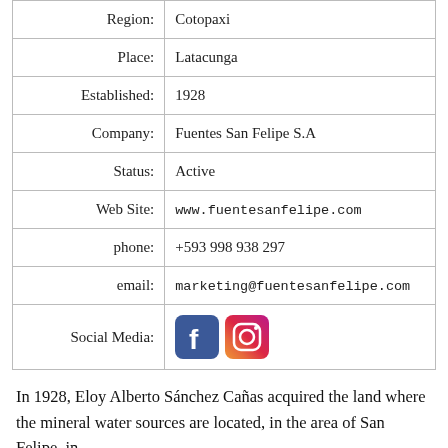| Label | Value |
| --- | --- |
| Region: | Cotopaxi |
| Place: | Latacunga |
| Established: | 1928 |
| Company: | Fuentes San Felipe S.A |
| Status: | Active |
| Web Site: | www.fuentesanfelipe.com |
| phone: | +593 998 938 297 |
| email: | marketing@fuentesanfelipe.com |
| Social Media: | [Facebook icon] [Instagram icon] |
In 1928, Eloy Alberto Sánchez Cañas acquired the land where the mineral water sources are located, in the area of San Felipe, in